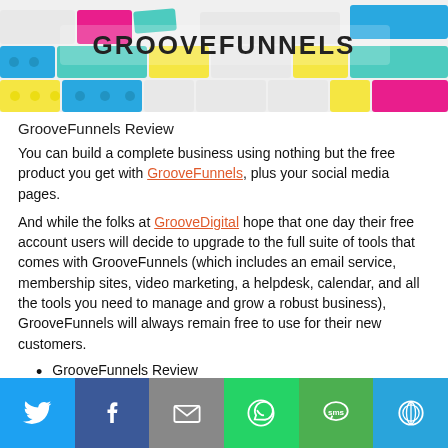[Figure (illustration): GrooveFunnels branded header image with colorful LEGO-style bricks (yellow, blue, pink, teal, white) and the GrooveFunnels logo text at the top]
GrooveFunnels Review
You can build a complete business using nothing but the free product you get with GrooveFunnels, plus your social media pages.
And while the folks at GrooveDigital hope that one day their free account users will decide to upgrade to the full suite of tools that comes with GrooveFunnels (which includes an email service, membership sites, video marketing, a helpdesk, calendar, and all the tools you need to manage and grow a robust business), GrooveFunnels will always remain free to use for their new customers.
GrooveFunnels Review
[Figure (infographic): Social sharing toolbar with Twitter, Facebook, Email, WhatsApp, SMS, and More options]